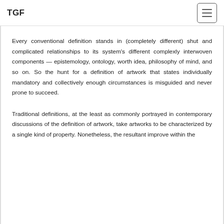TGF
Every conventional definition stands in (completely different) shut and complicated relationships to its system’s different complexly interwoven components — epistemology, ontology, worth idea, philosophy of mind, and so on. So the hunt for a definition of artwork that states individually mandatory and collectively enough circumstances is misguided and never prone to succeed.
Traditional definitions, at the least as commonly portrayed in contemporary discussions of the definition of artwork, take artworks to be characterized by a single kind of property. Nonetheless, the resultant improve within the